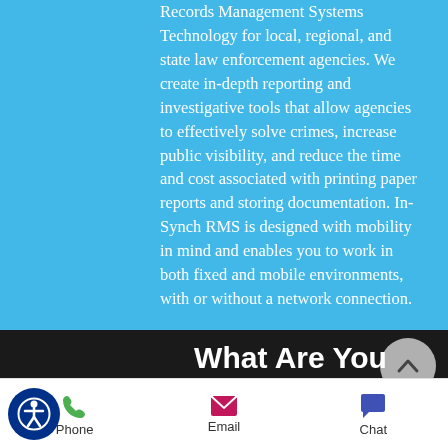Records Management Systems Technology for local, regional, and state law enforcement agencies. We create in-depth reporting and investigative tools that allow agencies to effectively solve crimes, increase public visibility, and reduce the time and cost associated with printing paper reports and storing documentation. In-Synch RMS is designed with mobility in mind and enables you to work in both fixed and mobile environments, with or without a network connection.
What Are You Waiting For?
[Figure (other): Contact bar with Phone, Email, and Chat icons at bottom of page]